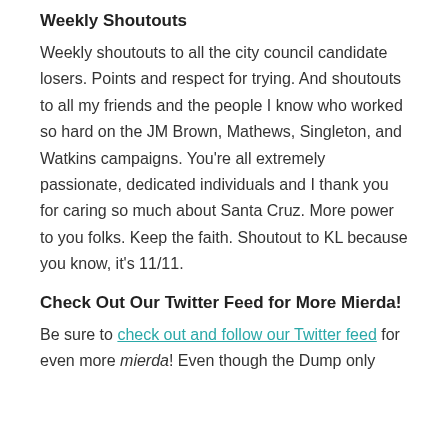Weekly Shoutouts
Weekly shoutouts to all the city council candidate losers. Points and respect for trying. And shoutouts to all my friends and the people I know who worked so hard on the JM Brown, Mathews, Singleton, and Watkins campaigns. You're all extremely passionate, dedicated individuals and I thank you for caring so much about Santa Cruz. More power to you folks. Keep the faith. Shoutout to KL because you know, it's 11/11.
Check Out Our Twitter Feed for More Mierda!
Be sure to check out and follow our Twitter feed for even more mierda! Even though the Dump only